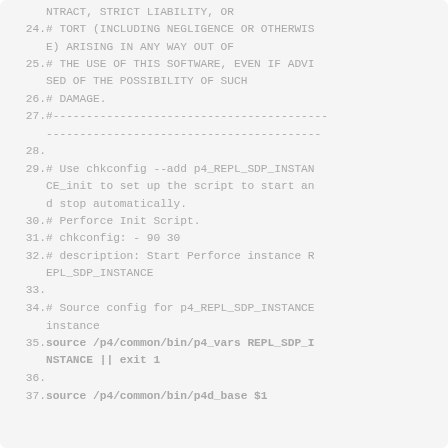[Figure (screenshot): Code listing showing lines 24-37 of a shell script with a license header and Perforce init script setup. Lines shown in monospace font on a light gray background. Line numbers on the left, code on the right. Content includes copyright/license comments and shell commands for sourcing Perforce configuration files.]